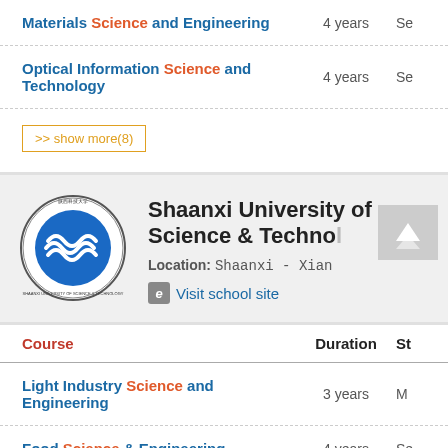Materials Science and Engineering | 4 years | Se
Optical Information Science and Technology | 4 years | Se
>> show more(8)
Shaanxi University of Science & Technology
Location: Shaanxi - Xian
Visit school site
| Course | Duration | St |
| --- | --- | --- |
| Light Industry Science and Engineering | 3 years | M |
| Food Science & Engineering | 4 years | Se |
| Environmental Science and Engineering | 3 years | M |
| Materials Science and Engineering |  |  |